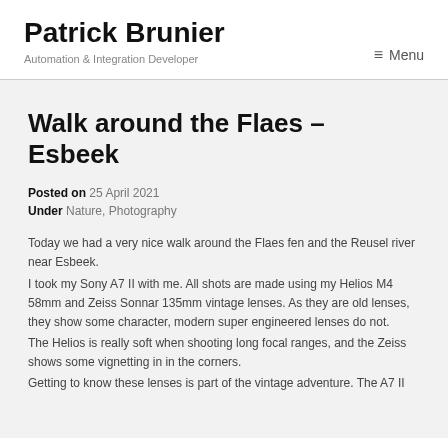Patrick Brunier
Automation & Integration Developer
≡ Menu
Walk around the Flaes – Esbeek
Posted on 25 April 2021
Under Nature, Photography
Today we had a very nice walk around the Flaes fen and the Reusel river near Esbeek.
I took my Sony A7 II with me. All shots are made using my Helios M4 58mm and Zeiss Sonnar 135mm vintage lenses. As they are old lenses, they show some character, modern super engineered lenses do not.
The Helios is really soft when shooting long focal ranges, and the Zeiss shows some vignetting in in the corners.
Getting to know these lenses is part of the vintage adventure. The A7 II